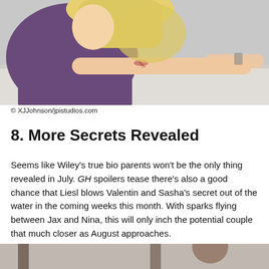[Figure (photo): A person with blonde hair wearing a purple top, leaning forward with arms extended on a surface. A small scratch/mark is visible on their forearm.]
© XJJohnson/jpistudios.com
8. More Secrets Revealed
Seems like Wiley's true bio parents won't be the only thing revealed in July. GH spoilers tease there's also a good chance that Liesl blows Valentin and Sasha's secret out of the water in the coming weeks this month. With sparks flying between Jax and Nina, this will only inch the potential couple that much closer as August approaches.
[Figure (photo): Partial view of a person, cropped at bottom of page.]